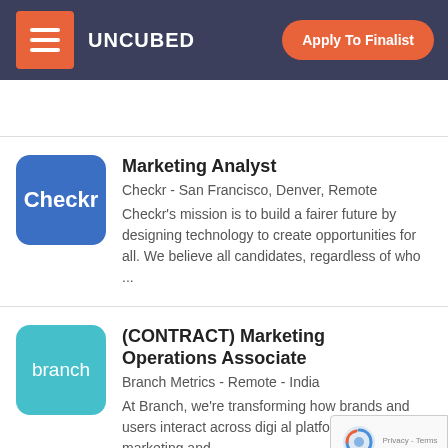UNCUBED   Apply To Finalist
[Figure (screenshot): Checkr company logo — white text on blue rounded square background]
Marketing Analyst
Checkr - San Francisco, Denver, Remote
Checkr's mission is to build a fairer future by designing technology to create opportunities for all. We believe all candidates, regardless of who ...
[Figure (screenshot): Branch company logo — white text on teal/cyan rounded square background]
(CONTRACT) Marketing Operations Associate
Branch Metrics - Remote - India
At Branch, we're transforming how brands and users interact across digital platforms. Our mobile marketing and